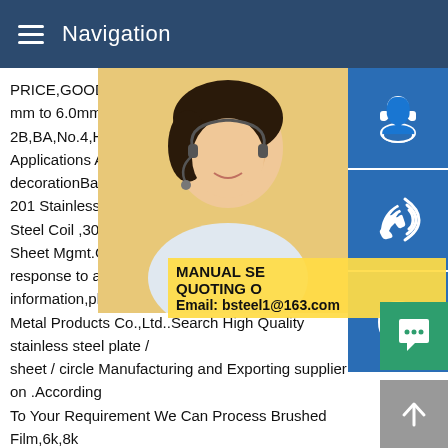Navigation
[Figure (photo): Woman with headset customer service representative photo in upper right area of page]
[Figure (infographic): Three blue icon buttons stacked on far right: customer service headset icon, phone/wifi icon, Skype icon]
MANUAL SE... QUOTING O... Email: bsteel1@163.com (overlay banner text)
PRICE,GOOD QUALITY WITH FAST DEL mm to 6.0mm Width 5 0mm to 1520 mm F 2B,BA,No.4,HL,Mirror 201 Cold Rolled Sta Applications Architectural decoration,Eleva decorationBaosteel plate Manufacturers S 201 Stainless Steel Sheet ,304 Stainless S Steel Coil ,304 Stainless Steel Sheet ,SUS Sheet Mgmt.Certification ISO26 pinsSome response to a notice of local law requirem information,please see here.Previous1234 Metal Products Co.,Ltd..Search High Quality stainless steel plate / sheet / circle Manufacturing and Exporting supplier on .According To Your Requirement We Can Process Brushed Film,6k,8k Mirror,Polishing,Yellow Titanium,Black Titanium,Rose Gold,No Fingerprint,And All Kinds Of Colored Stainless Steel Sheet Founded in 2016 11 - 50 People 92.8% Quick Response
[Figure (infographic): Green chat bubble button at bottom right]
[Figure (infographic): Gray scroll-to-top arrow button at bottom right]